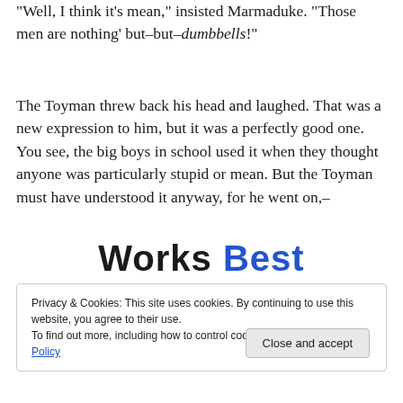"Well, I think it's mean," insisted Marmaduke. "Those men are nothing' but–but–dumbbells!"
The Toyman threw back his head and laughed. That was a new expression to him, but it was a perfectly good one. You see, the big boys in school used it when they thought anyone was particularly stupid or mean. But the Toyman must have understood it anyway, for he went on,–
[Figure (logo): Works Best logo with 'Works' in black bold and 'Best' in blue bold]
Privacy & Cookies: This site uses cookies. By continuing to use this website, you agree to their use.
To find out more, including how to control cookies, see here: Cookie Policy
Close and accept